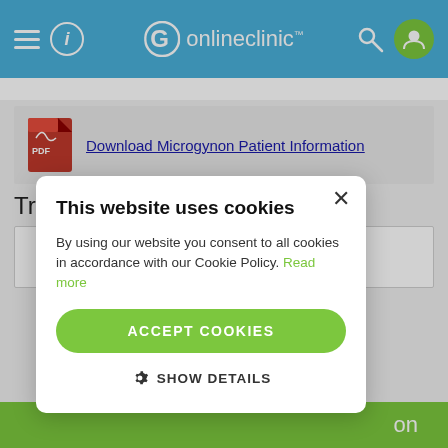onlineclinic
[Figure (screenshot): PDF icon for downloading Microgynon Patient Information]
Download Microgynon Patient Information
Treatment Information
[Figure (screenshot): Cookie consent modal overlay with title 'This website uses cookies', body text, Accept Cookies button, and Show Details option]
This website uses cookies
By using our website you consent to all cookies in accordance with our Cookie Policy. Read more
ACCEPT COOKIES
SHOW DETAILS